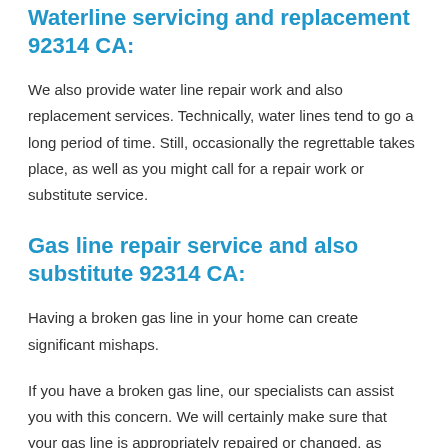Waterline servicing and replacement 92314 CA:
We also provide water line repair work and also replacement services. Technically, water lines tend to go a long period of time. Still, occasionally the regrettable takes place, as well as you might call for a repair work or substitute service.
Gas line repair service and also substitute 92314 CA:
Having a broken gas line in your home can create significant mishaps.
If you have a broken gas line, our specialists can assist you with this concern. We will certainly make sure that your gas line is appropriately repaired or changed, as required.